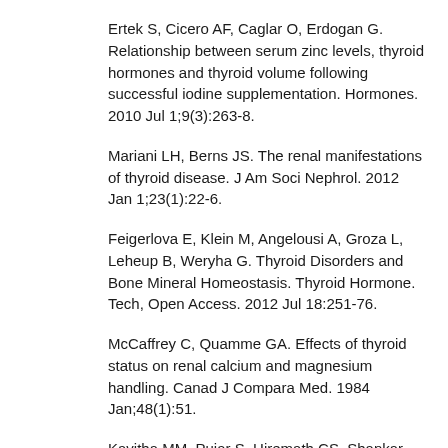Ertek S, Cicero AF, Caglar O, Erdogan G. Relationship between serum zinc levels, thyroid hormones and thyroid volume following successful iodine supplementation. Hormones. 2010 Jul 1;9(3):263-8.
Mariani LH, Berns JS. The renal manifestations of thyroid disease. J Am Soci Nephrol. 2012 Jan 1;23(1):22-6.
Feigerlova E, Klein M, Angelousi A, Groza L, Leheup B, Weryha G. Thyroid Disorders and Bone Mineral Homeostasis. Thyroid Hormone. Tech, Open Access. 2012 Jul 18:251-76.
McCaffrey C, Quamme GA. Effects of thyroid status on renal calcium and magnesium handling. Canad J Compara Med. 1984 Jan;48(1):51.
Kavitha MM, Pujar S, Hiremath CS. Shankar Prasad, Mahanthesh Evaluation of serum electrolytes in hypothyroid patients. Med Pulse-Inter Med J August. 2014;1(8):393-5.
Gotal MC, Sixt AM, Melantin JS. Autotest f...